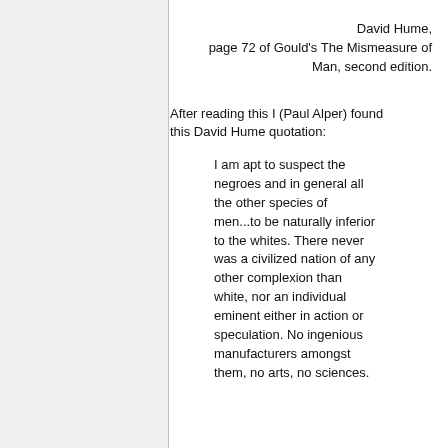David Hume, page 72 of Gould's The Mismeasure of Man, second edition.
After reading this I (Paul Alper) found this David Hume quotation:
I am apt to suspect the negroes and in general all the other species of men...to be naturally inferior to the whites. There never was a civilized nation of any other complexion than white, nor an individual eminent either in action or speculation. No ingenious manufacturers amongst them, no arts, no sciences.